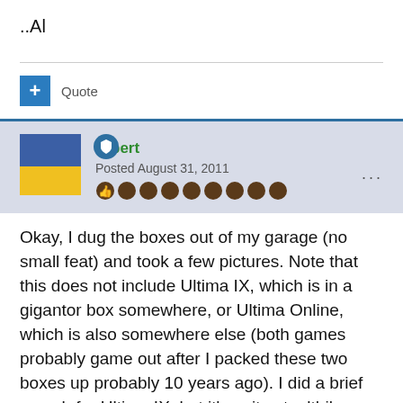..Al
Quote
Albert
Posted August 31, 2011
Okay, I dug the boxes out of my garage (no small feat) and took a few pictures. Note that this does not include Ultima IX, which is in a gigantor box somewhere, or Ultima Online, which is also somewhere else (both games probably game out after I packed these two boxes up probably 10 years ago). I did a brief search for Ultima IX, but it's quite stealthily buried in a box of PC games somewhere (I have several such large boxes of PC